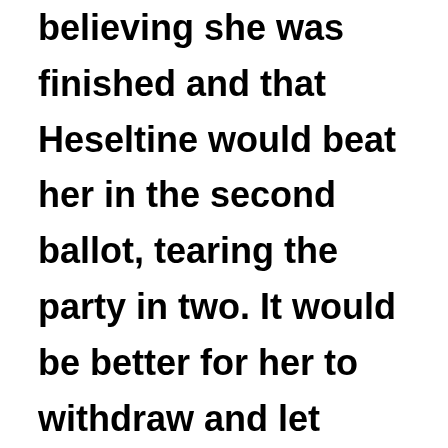believing she was finished and that Heseltine would beat her in the second ballot, tearing the party in two. It would be better for her to withdraw and let someone else fight him off. Had she been in London throughout the crisis and able to summon her cabinet together to back her, she might have survived. But by the time she got back,